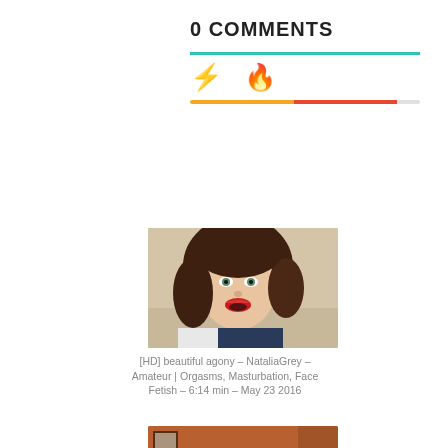0 COMMENTS
[Figure (screenshot): Tab bar with lightning bolt and fire emoji icons, teal underline and colored progress bar]
[Figure (photo): Video thumbnail showing a young woman with curly hair and red lipstick looking at camera]
[HD] beautiful agony – NataliaGrey – Amateur | Orgasms, Masturbation, Face Fetish – 6:14 min – May 23 2016
[Figure (photo): Video thumbnail showing a person in a bent-over pose on a bed in warm orange lighting]